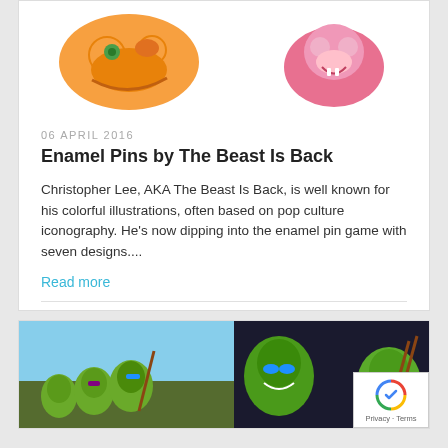[Figure (illustration): Two enamel pin illustrations: an orange cartoon character on the left and a pink cartoon character on the right, shown against a white background.]
06 APRIL 2016
Enamel Pins by The Beast Is Back
Christopher Lee, AKA The Beast Is Back, is well known for his colorful illustrations, often based on pop culture iconography. He's now dipping into the enamel pin game with seven designs....
Read more
[Figure (photo): A composite image showing Teenage Mutant Ninja Turtles characters from different animated series versions side by side: classic cartoon on left, modern CGI versions on right.]